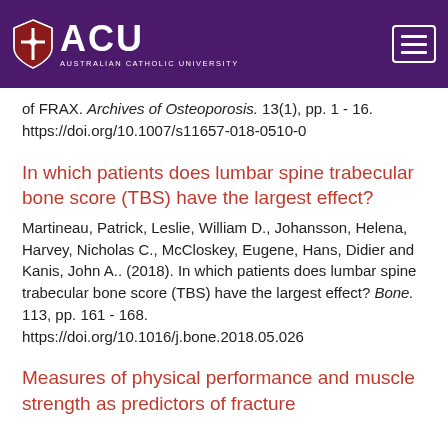[Figure (logo): ACU Australian Catholic University logo and navigation header on purple background]
of FRAX. Archives of Osteoporosis. 13(1), pp. 1 - 16. https://doi.org/10.1007/s11657-018-0510-0
In which patients does lumbar spine trabecular bone score (TBS) have the largest effect?
Martineau, Patrick, Leslie, William D., Johansson, Helena, Harvey, Nicholas C., McCloskey, Eugene, Hans, Didier and Kanis, John A.. (2018). In which patients does lumbar spine trabecular bone score (TBS) have the largest effect? Bone. 113, pp. 161 - 168. https://doi.org/10.1016/j.bone.2018.05.026
Measures of physical performance and muscle strength as predictors of fracture